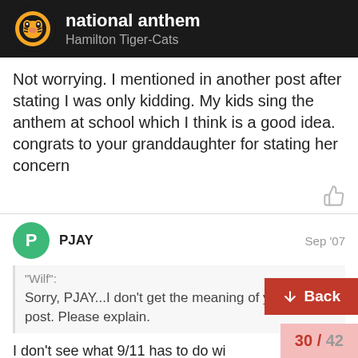national anthem — Hamilton Tiger-Cats
Not worrying. I mentioned in another post after stating I was only kidding. My kids sing the anthem at school which I think is a good idea. congrats to your granddaughter for stating her concern
PJAY  Sep '07
"Wilf":
Sorry, PJAY...I don't get the meaning of your last post. Please explain.
I don't see what 9/11 has to do wi "O Canada".